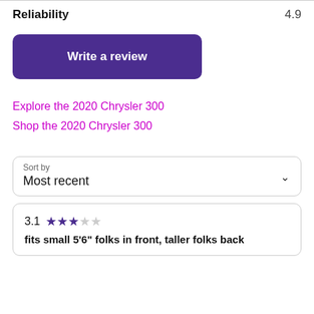Reliability  4.9
[Figure (other): Purple 'Write a review' button]
Explore the 2020 Chrysler 300
Shop the 2020 Chrysler 300
Sort by
Most recent
3.1 ★★★☆☆
fits small 5'6" folks in front, taller folks back